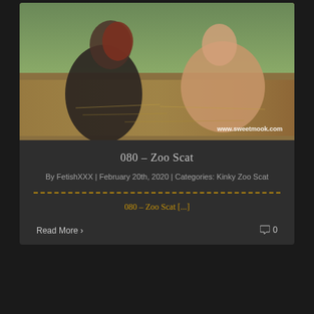[Figure (photo): Outdoor photo with people on hay/straw ground, watermark www.sweetmook.com in bottom right]
080 – Zoo Scat
By FetishXXX | February 20th, 2020 | Categories: Kinky Zoo Scat
080 – Zoo Scat [...]
Read More >
0